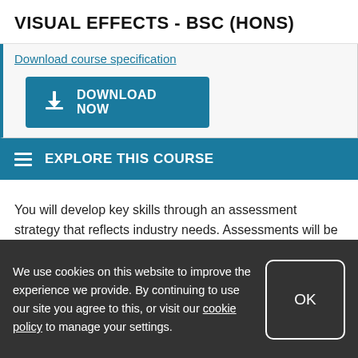VISUAL EFFECTS - BSC (HONS)
Download course specification
[Figure (screenshot): Download Now button with download icon on teal background]
EXPLORE THIS COURSE
You will develop key skills through an assessment strategy that reflects industry needs. Assessments will be varied and predominantly focused on coursework. The practical
We use cookies on this website to improve the experience we provide. By continuing to use our site you agree to this, or visit our cookie policy to manage your settings.